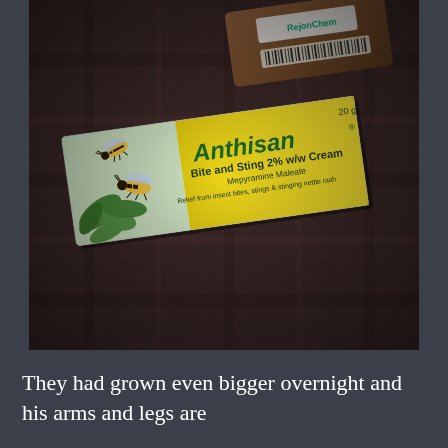[Figure (photo): Photo of Anthisan Bite and Sting 2% w/w Cream box (Mepyramine Maleate, 20g) and a brown box (RejonChem) lying on a dark carpet/rug background. The Anthisan box is yellow and white with green insect illustrations.]
They had grown even bigger overnight and his arms and legs are